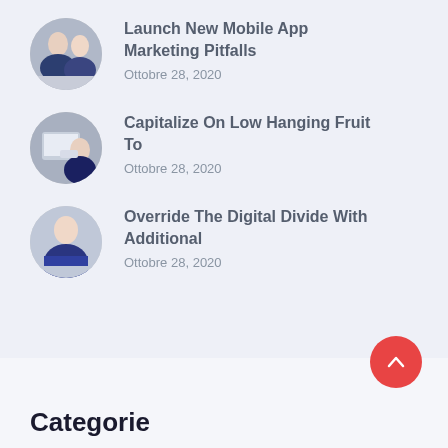Launch New Mobile App Marketing Pitfalls
Ottobre 28, 2020
Capitalize On Low Hanging Fruit To
Ottobre 28, 2020
Override The Digital Divide With Additional
Ottobre 28, 2020
Categorie